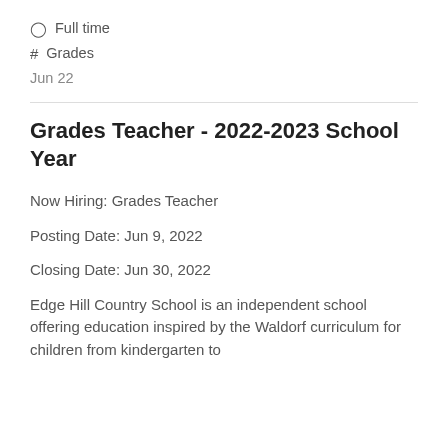⊙ Full time
# Grades
Jun 22
Grades Teacher - 2022-2023 School Year
Now Hiring: Grades Teacher
Posting Date: Jun 9, 2022
Closing Date: Jun 30, 2022
Edge Hill Country School is an independent school offering education inspired by the Waldorf curriculum for children from kindergarten to